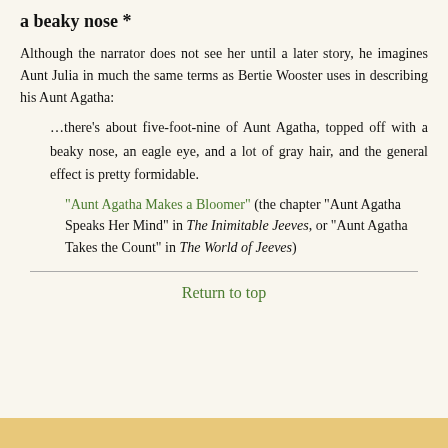a beaky nose *
Although the narrator does not see her until a later story, he imagines Aunt Julia in much the same terms as Bertie Wooster uses in describing his Aunt Agatha:
…there's about five-foot-nine of Aunt Agatha, topped off with a beaky nose, an eagle eye, and a lot of gray hair, and the general effect is pretty formidable.
"Aunt Agatha Makes a Bloomer" (the chapter "Aunt Agatha Speaks Her Mind" in The Inimitable Jeeves, or "Aunt Agatha Takes the Count" in The World of Jeeves)
Return to top